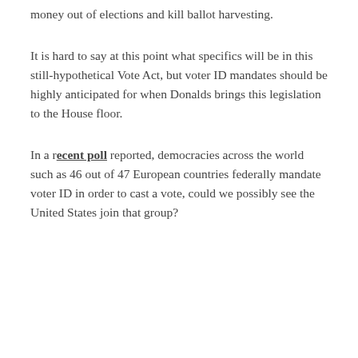money out of elections and kill ballot harvesting.
It is hard to say at this point what specifics will be in this still-hypothetical Vote Act, but voter ID mandates should be highly anticipated for when Donalds brings this legislation to the House floor.
In a recent poll reported, democracies across the world such as 46 out of 47 European countries federally mandate voter ID in order to cast a vote, could we possibly see the United States join that group?